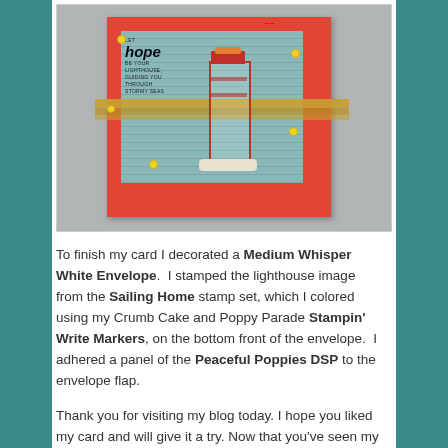[Figure (photo): A handmade greeting card with a red background, a teal/mint inner panel featuring a lighthouse stamped image, gold ribbon across the middle, small yellow rhinestone embellishments, and text reading 'LET hope BE YOUR LIGHTHOUSE, GUIDING YOU THROUGH STORMY SEAS' on the card.]
To finish my card I decorated a Medium Whisper White Envelope.  I stamped the lighthouse image from the Sailing Home stamp set, which I colored using my Crumb Cake and Poppy Parade Stampin' Write Markers, on the bottom front of the envelope.  I adhered a panel of the Peaceful Poppies DSP to the envelope flap.
Thank you for visiting my blog today. I hope you liked my card and will give it a try. Now that you've seen my card,